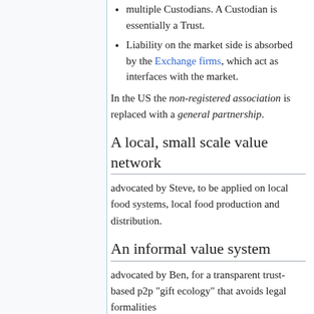multiple Custodians. A Custodian is essentially a Trust.
Liability on the market side is absorbed by the Exchange firms, which act as interfaces with the market.
In the US the non-registered association is replaced with a general partnership.
A local, small scale value network
advocated by Steve, to be applied on local food systems, local food production and distribution.
An informal value system
advocated by Ben, for a transparent trust-based p2p "gift ecology" that avoids legal formalities